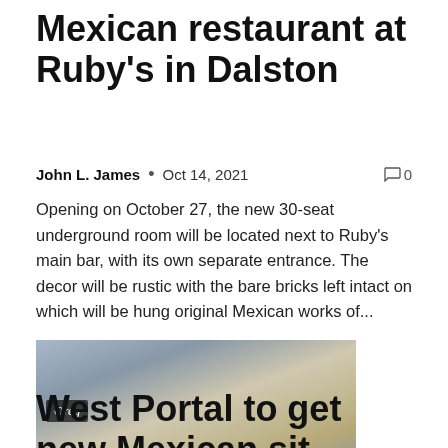Mexican restaurant at Ruby's in Dalston
John L. James  •  Oct 14, 2021   🗨 0
Opening on October 27, the new 30-seat underground room will be located next to Ruby's main bar, with its own separate entrance. The decor will be rustic with the bare bricks left intact on which will be hung original Mexican works of...
[Figure (photo): Exterior photo of a building with a sign reading 'Oreg', rooftop view with palm trees and urban surroundings]
West Portal to get new Mexican sit-down restaurant